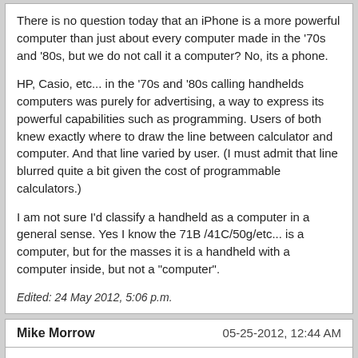There is no question today that an iPhone is a more powerful computer than just about every computer made in the '70s and '80s, but we do not call it a computer? No, its a phone.
HP, Casio, etc... in the '70s and '80s calling handhelds computers was purely for advertising, a way to express its powerful capabilities such as programming. Users of both knew exactly where to draw the line between calculator and computer. And that line varied by user. (I must admit that line blurred quite a bit given the cost of programmable calculators.)
I am not sure I'd classify a handheld as a computer in a general sense. Yes I know the 71B /41C/50g/etc... is a computer, but for the masses it is a handheld with a computer inside, but not a "computer".
Edited: 24 May 2012, 5:06 p.m.
Mike Morrow
05-25-2012, 12:44 AM
Quote:
...I know the 71B /41C/50g/etc... is a computer, but for the masses it is a handheld with a computer inside, but not a "computer".
A Univac 1108 running Exec 8 Level 27...now that's a computer! [40 years ago]